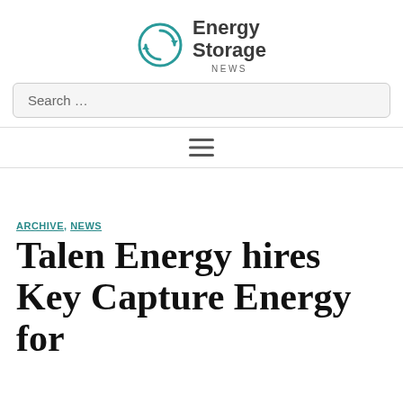[Figure (logo): Energy Storage News logo with teal circular arrow icon and bold text 'Energy Storage' with 'NEWS' below]
Search …
[Figure (other): Hamburger menu icon (three horizontal lines)]
ARCHIVE, NEWS
Talen Energy hires Key Capture Energy for